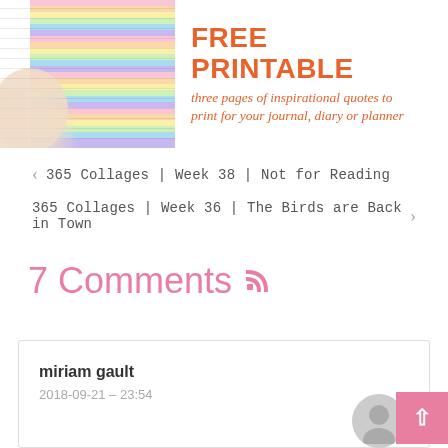[Figure (photo): Hands holding colorful rainbow-striped pages with text, FREE PRINTABLE banner image with orange text overlay reading 'FREE PRINTABLE three pages of inspirational quotes to print for your journal, diary or planner']
< 365 Collages | Week 38 | Not for Reading
365 Collages | Week 36 | The Birds are Back in Town >
7 Comments
miriam gault
2018-09-21 – 23:54